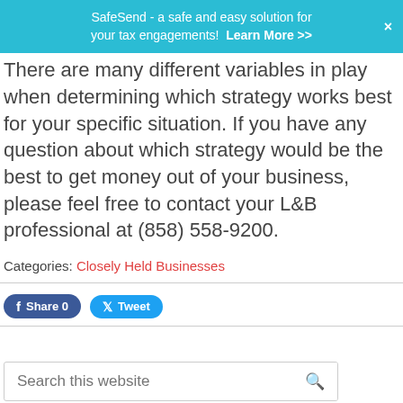SafeSend - a safe and easy solution for your tax engagements! Learn More >>
There are many different variables in play when determining which strategy works best for your specific situation. If you have any question about which strategy would be the best to get money out of your business, please feel free to contact your L&B professional at (858) 558-9200.
Categories: Closely Held Businesses
Share 0  Tweet
Search this website